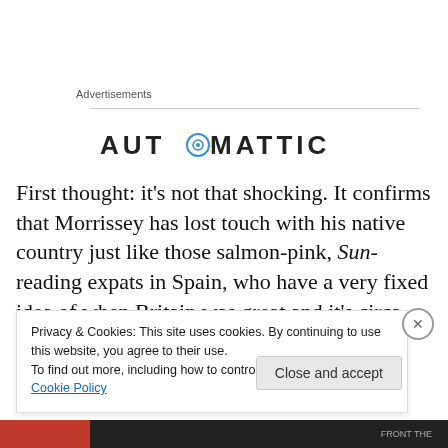Advertisements
[Figure (logo): Automattic logo — stylized text 'AUTOMATTIC' with a circle-O emblem]
First thought: it's not that shocking. It confirms that Morrissey has lost touch with his native country just like those salmon-pink, Sun-reading expats in Spain, who have a very fixed idea of when Britain was great and it's circa 1945. Morrissey is from Irish stock, who arrived in
Privacy & Cookies: This site uses cookies. By continuing to use this website, you agree to their use.
To find out more, including how to control cookies, see here: Cookie Policy
Close and accept